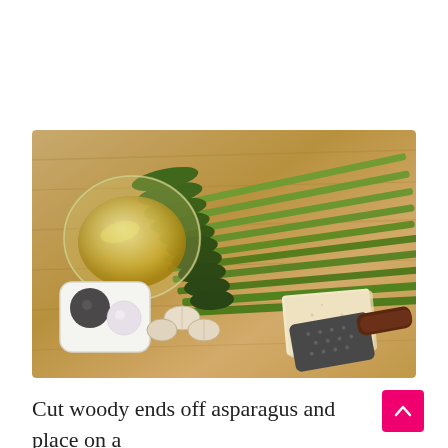[Figure (photo): Top-down view of asparagus stalks, a bowl of olive oil, a small white dish with salt and pepper, garlic cloves, a block of parmesan cheese, and a grater, all arranged on a wooden cutting board.]
Cut woody ends off asparagus and place on a